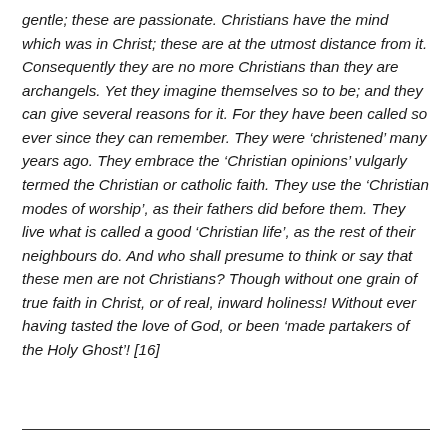gentle; these are passionate. Christians have the mind which was in Christ; these are at the utmost distance from it. Consequently they are no more Christians than they are archangels. Yet they imagine themselves so to be; and they can give several reasons for it. For they have been called so ever since they can remember. They were ‘christened’ many years ago. They embrace the ‘Christian opinions’ vulgarly termed the Christian or catholic faith. They use the ‘Christian modes of worship’, as their fathers did before them. They live what is called a good ‘Christian life’, as the rest of their neighbours do. And who shall presume to think or say that these men are not Christians? Though without one grain of true faith in Christ, or of real, inward holiness! Without ever having tasted the love of God, or been ‘made partakers of the Holy Ghost’! [16]